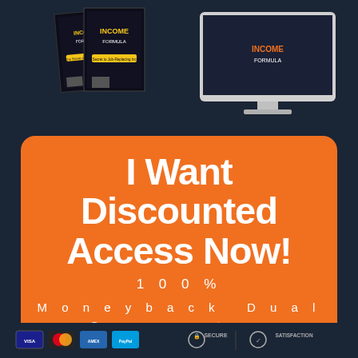[Figure (illustration): Product mockup showing two book covers titled 'Income Formula' alongside a desktop computer monitor, on a dark navy background]
I Want Discounted Access Now!
100%
Moneyback Dual
Guarantee
[Figure (illustration): Footer bar with payment icons (credit card logos), SECURE badge, and SATISFACTION badge on dark background]